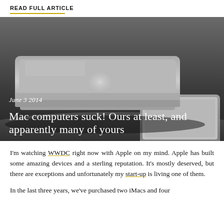READ FULL ARTICLE
[Figure (photo): Stacked Apple MacBook laptops on a dark surface, photographed from a low angle showing the Apple logos]
June 3 2014
Mac computers suck! Ours at least, and apparently many of yours
I'm watching WWDC right now with Apple on my mind. Apple has built some amazing devices and a sterling reputation. It's mostly deserved, but there are exceptions and unfortunately my start-up is living one of them.
In the last three years, we've purchased two iMacs and four